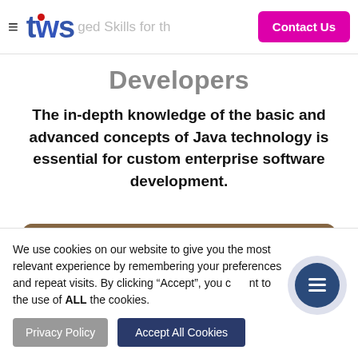tws — Targeted Skills for the... | Contact Us
Developers
The in-depth knowledge of the basic and advanced concepts of Java technology is essential for custom enterprise software development.
[Figure (photo): A person viewed from behind, working at a computer with wooden bookshelf in the background]
We use cookies on our website to give you the most relevant experience by remembering your preferences and repeat visits. By clicking “Accept”, you consent to the use of ALL the cookies.
Privacy Policy | Accept All Cookies